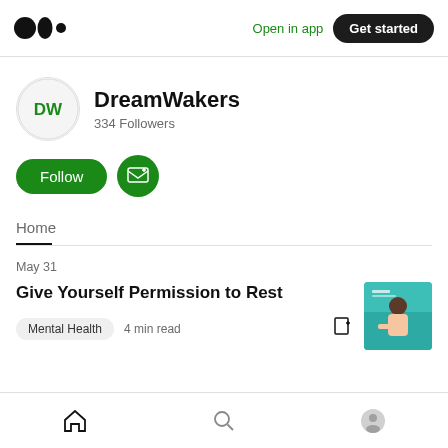Medium logo | Open in app | Get started
[Figure (logo): Medium logo — three black dots/circles]
Open in app
Get started
[Figure (illustration): DW avatar circle with DW initials]
DreamWakers
334 Followers
Follow
[Figure (illustration): Subscribe/email icon button]
Home
May 31
Give Yourself Permission to Rest
Mental Health  4 min read
[Figure (illustration): Article thumbnail image showing a person resting with teal/green background]
Home | Search | Profile